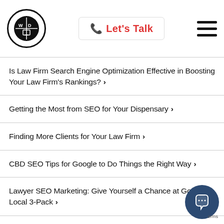Let's Talk
Is Law Firm Search Engine Optimization Effective in Boosting Your Law Firm's Rankings? >
Getting the Most from SEO for Your Dispensary >
Finding More Clients for Your Law Firm >
CBD SEO Tips for Google to Do Things the Right Way >
Lawyer SEO Marketing: Give Yourself a Chance at Google's Local 3-Pack >
Lesser-Known Addiction Treatment SEO Tips to Keep in Mind >
How Does Law Firm SEO Help Law Firms? >